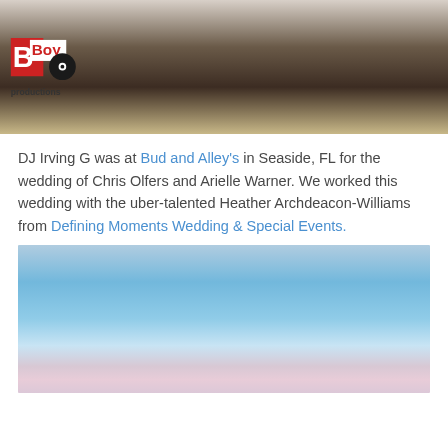[Figure (photo): Photo of a person in dark vest and white shirt, with B Boy Productions logo overlay in bottom left]
DJ Irving G was at Bud and Alley's in Seaside, FL for the wedding of Chris Olfers and Arielle Warner. We worked this wedding with the uber-talented Heather Archdeacon-Williams from Defining Moments Wedding & Special Events.
[Figure (photo): Outdoor photo with blue sky gradient, partial view]